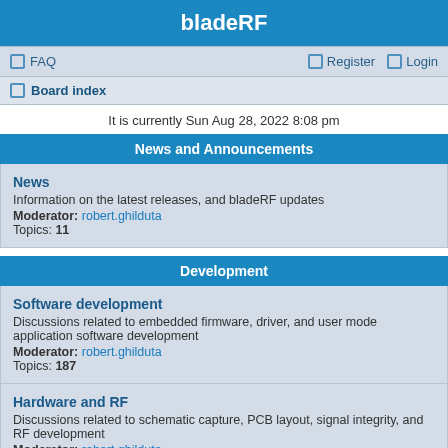bladeRF
FAQ   Register   Login
Board index
It is currently Sun Aug 28, 2022 8:08 pm
News and Announcements
News
Information on the latest releases, and bladeRF updates
Moderator: robert.ghilduta
Topics: 11
Development
Software development
Discussions related to embedded firmware, driver, and user mode application software development
Moderator: robert.ghilduta
Topics: 187
Hardware and RF
Discussions related to schematic capture, PCB layout, signal integrity, and RF development
Moderator: robert.ghilduta
Topics: 129
Digital Signal Processing
Discussions related to modulation techniques, filtering, error correction and